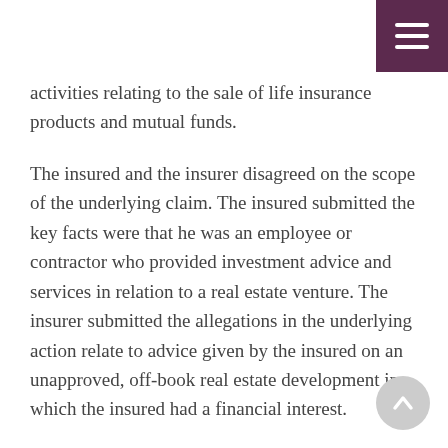activities relating to the sale of life insurance products and mutual funds.
The insured and the insurer disagreed on the scope of the underlying claim. The insured submitted the key facts were that he was an employee or contractor who provided investment advice and services in relation to a real estate venture. The insurer submitted the allegations in the underlying action relate to advice given by the insured on an unapproved, off-book real estate development in which the insured had a financial interest.
The court held that none of the allegations against the insured fell within the definition of professional services in the policy, which provided coverage for…